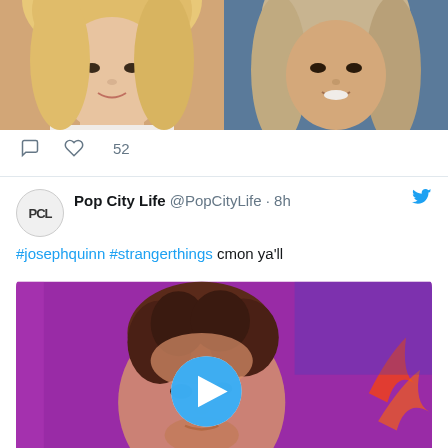[Figure (photo): Two celebrity headshots side by side — a blonde woman on the left and a man with long hair on the right]
52 (likes)
Pop City Life @PopCityLife · 8h
#josephquinn #strangerthings cmon ya'll
[Figure (photo): Video thumbnail showing a man (Joseph Quinn) with curly brown hair under purple/magenta lighting, with a play button overlay]